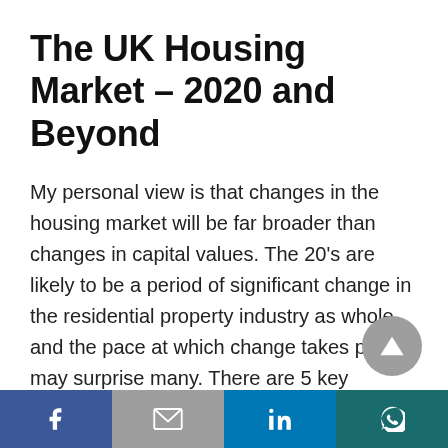The UK Housing Market – 2020 and Beyond
My personal view is that changes in the housing market will be far broader than changes in capital values. The 20's are likely to be a period of significant change in the residential property industry as whole and the pace at which change takes place may surprise many. There are 5 key themes which are likely to dominate the next decade:
PropTech
[Figure (other): Social share bar at the bottom with Facebook, Gmail, LinkedIn, and WhatsApp icons]